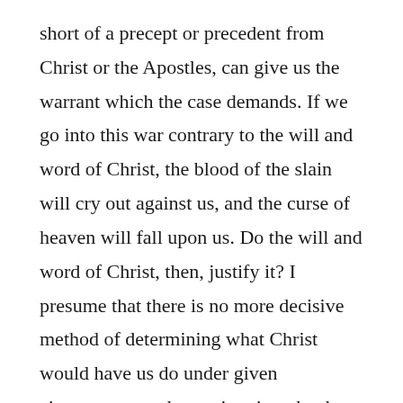short of a precept or precedent from Christ or the Apostles, can give us the warrant which the case demands. If we go into this war contrary to the will and word of Christ, the blood of the slain will cry out against us, and the curse of heaven will fall upon us. Do the will and word of Christ, then, justify it? I presume that there is no more decisive method of determining what Christ would have us do under given circumstances, than to inquire what he himself would do if he occupied our place. If he were alive and among us now, as he was in Judea, and teaching in either section of the country, what would be his conduct and advice? To ask this question is to answer it. No man who knows his history – who knows that at his birth exulting angels shouted, “Peace on earth, good will